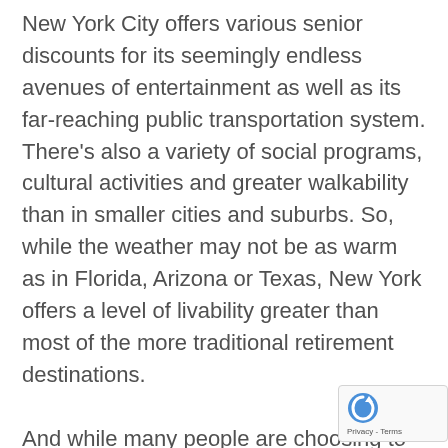New York City offers various senior discounts for its seemingly endless avenues of entertainment as well as its far-reaching public transportation system. There's also a variety of social programs, cultural activities and greater walkability than in smaller cities and suburbs. So, while the weather may not be as warm as in Florida, Arizona or Texas, New York offers a level of livability greater than most of the more traditional retirement destinations.
And while many people are choosing to live in the new, amenity-rich high rises that are popping up in cities, the bigger appeal of renting in these places appears to come from everything they can do out in the ci... rather than inside the new-build buildings. F...